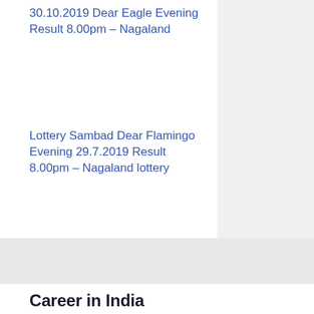30.10.2019 Dear Eagle Evening Result 8.00pm – Nagaland
Lottery Sambad Dear Flamingo Evening 29.7.2019 Result 8.00pm – Nagaland lottery
Career in India